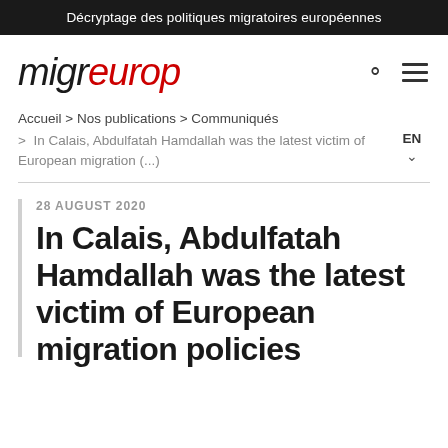Décryptage des politiques migratoires européennes
[Figure (logo): migreurop logo — 'migr' in black italic, 'europ' in red italic — with search icon and hamburger menu icon to the right]
Accueil > Nos publications > Communiqués
> In Calais, Abdulfatah Hamdallah was the latest victim of European migration (...) EN ∨
28 AUGUST 2020
In Calais, Abdulfatah Hamdallah was the latest victim of European migration policies